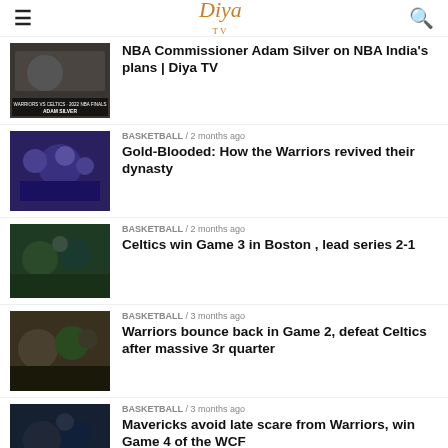Diya TV
[Figure (photo): NBA Commissioner Adam Silver photo with Warriors vs Celtics 2022 NBA Finals text overlay]
NBA Commissioner Adam Silver on NBA India's plans | Diya TV
BASKETBALL / 2 months ago
[Figure (photo): Golden State Warriors celebrating championship]
Gold-Blooded: How the Warriors revived their dynasty
BASKETBALL / 2 months ago
[Figure (photo): Celtics vs Warriors basketball game action]
Celtics win Game 3 in Boston , lead series 2-1
BASKETBALL / 3 months ago
[Figure (photo): Warriors vs Celtics basketball game action]
Warriors bounce back in Game 2, defeat Celtics after massive 3r quarter
BASKETBALL / 3 months ago
[Figure (photo): Mavericks vs Warriors basketball game]
Mavericks avoid late scare from Warriors, win Game 4 of the WCF